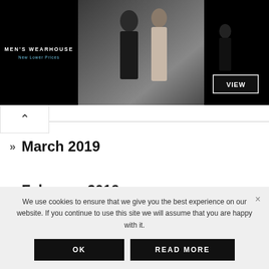[Figure (photo): Men's Wearhouse advertisement banner showing a couple in formal wear and a man in a tuxedo with a VIEW button]
» March 2019
» February 2019
» January 2019
CATEGORIES
We use cookies to ensure that we give you the best experience on our website. If you continue to use this site we will assume that you are happy with it.